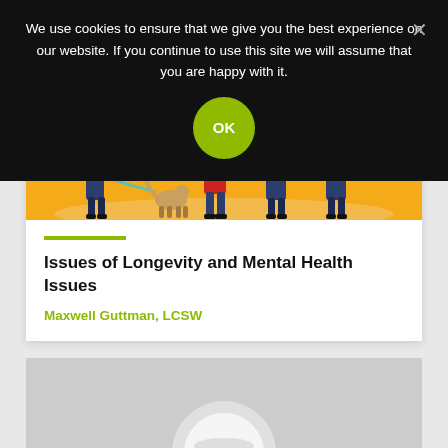We use cookies to ensure that we give you the best experience on our website. If you continue to use this site we will assume that you are happy with it.
Issues of Longevity and Mental Health Issues
Maxwell Guttman, LCSW
[Figure (illustration): Cookie banner OK button - green circle with OK text]
[Figure (illustration): Partial illustration of people standing on orange background - bottom portion of a health-related article card image]
[Figure (photo): Bottom partial view of a second article card with grey/white tones, showing beginning of another article image]